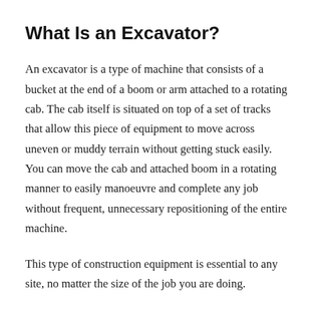What Is an Excavator?
An excavator is a type of machine that consists of a bucket at the end of a boom or arm attached to a rotating cab. The cab itself is situated on top of a set of tracks that allow this piece of equipment to move across uneven or muddy terrain without getting stuck easily. You can move the cab and attached boom in a rotating manner to easily manoeuvre and complete any job without frequent, unnecessary repositioning of the entire machine.
This type of construction equipment is essential to any site, no matter the size of the job you are doing.